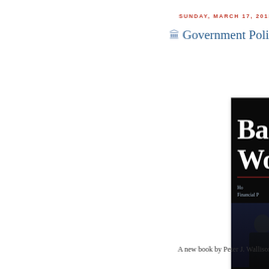SUNDAY, MARCH 17, 2013
Government Policy C
[Figure (illustration): Book cover of 'Bad Wo...' with dark background showing two figures in dark suits, author name PETE visible at bottom, subtitle about financial policy]
A new book by Peter J. Wallison